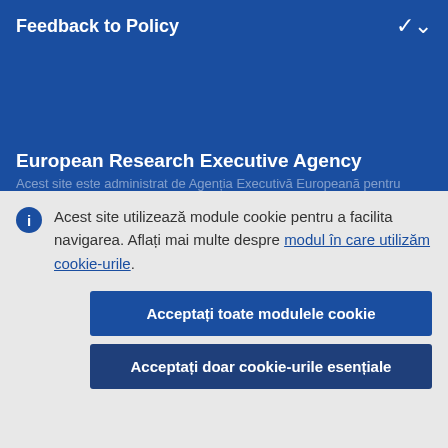Feedback to Policy
European Research Executive Agency
Acest site este administrat de Agenția Executivă Europeană pentru
Acest site utilizează module cookie pentru a facilita navigarea. Aflați mai multe despre modul în care utilizăm cookie-urile.
Acceptați toate modulele cookie
Acceptați doar cookie-urile esențiale